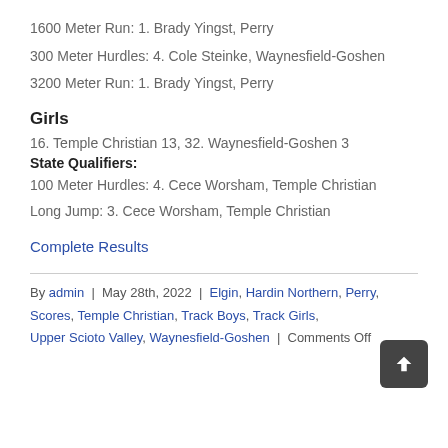1600 Meter Run: 1. Brady Yingst, Perry
300 Meter Hurdles: 4. Cole Steinke, Waynesfield-Goshen
3200 Meter Run: 1. Brady Yingst, Perry
Girls
16. Temple Christian 13, 32. Waynesfield-Goshen 3
State Qualifiers:
100 Meter Hurdles: 4. Cece Worsham, Temple Christian
Long Jump: 3. Cece Worsham, Temple Christian
Complete Results
By admin | May 28th, 2022 | Elgin, Hardin Northern, Perry, Scores, Temple Christian, Track Boys, Track Girls, Upper Scioto Valley, Waynesfield-Goshen | Comments Off